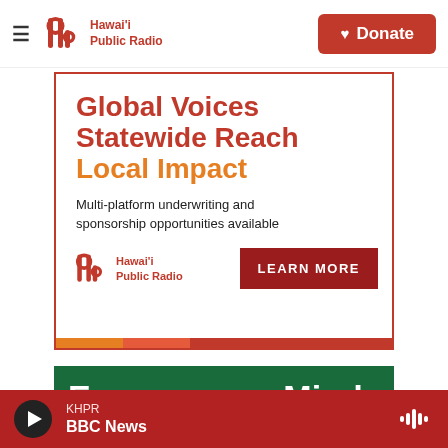Hawai'i Public Radio | Donate
[Figure (infographic): Hawaii Public Radio advertisement banner. Text reads: Global Voices / Statewide Reach / Local Impact. Multi-platform underwriting and sponsorship opportunities available. Hawaii Public Radio logo with LEARN MORE button. Bottom color bar in orange, coral, and red.]
[Figure (infographic): Green banner with white bold text: Engage your Mind,]
KHPR BBC News (audio player)